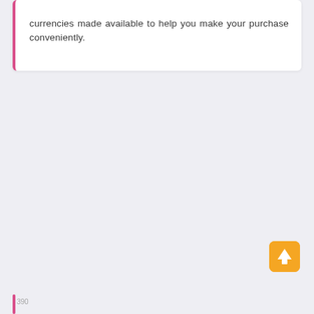currencies made available to help you make your purchase conveniently.
[Figure (other): Yellow rounded square button with a white upward arrow icon (back-to-top button)]